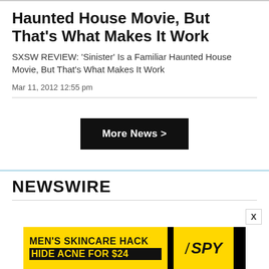Haunted House Movie, But That's What Makes It Work
SXSW REVIEW: 'Sinister' Is a Familiar Haunted House Movie, But That's What Makes It Work
Mar 11, 2012 12:55 pm
[Figure (other): More News > button — black rectangular button with white bold text]
NEWSWIRE
[Figure (other): Advertisement banner: MEN'S SKINCARE HACK HIDE ACNE FOR $24 with SPY logo on yellow/black background]